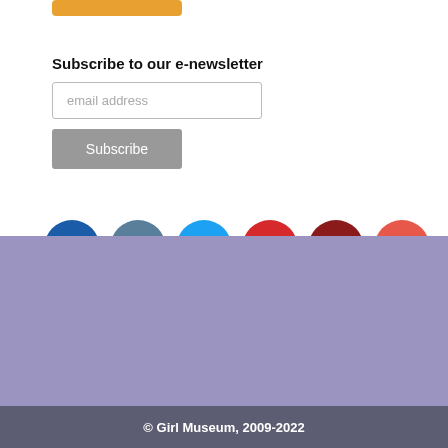[Figure (screenshot): Partial orange button at top of page]
Subscribe to our e-newsletter
email address (input field placeholder)
Subscribe (button)
[Figure (infographic): Row of six social media icon circles: Facebook (blue), Instagram (slate blue), Twitter (sky blue), Pinterest (red), YouTube (dark red), Heart/Donate (coral red)]
[Figure (other): Purple/lavender background band]
© Girl Museum, 2009-2022